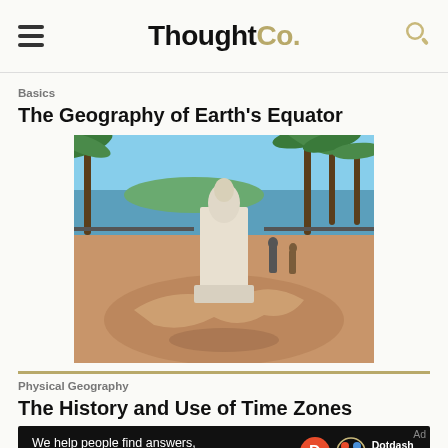ThoughtCo.
Basics
The Geography of Earth's Equator
[Figure (photo): Outdoor equator monument on a paved plaza with a world map painted on the ground, tropical palm trees and ocean in the background, people visible near the monument.]
Physical Geography
The History and Use of Time Zones
[Figure (infographic): Dark advertisement banner: 'We help people find answers, solve problems and get inspired.' with Dotdash Meredith logo.]